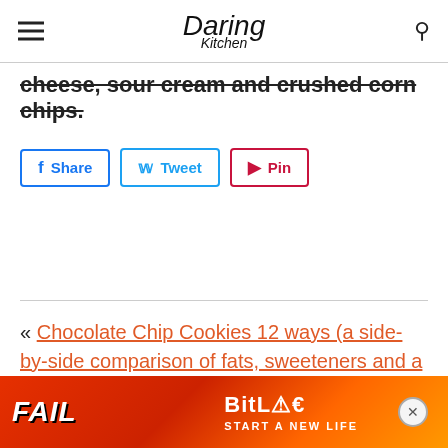Daring Kitchen
cheese, sour cream and crushed corn chips.
Share  Tweet  Pin
« Chocolate Chip Cookies 12 ways (a side-by-side comparison of fats, sweeteners and a gluten-free flour)
[Figure (infographic): Advertisement banner for BitLife game - red/orange background with FAIL text and 'START A NEW LIFE' tagline]